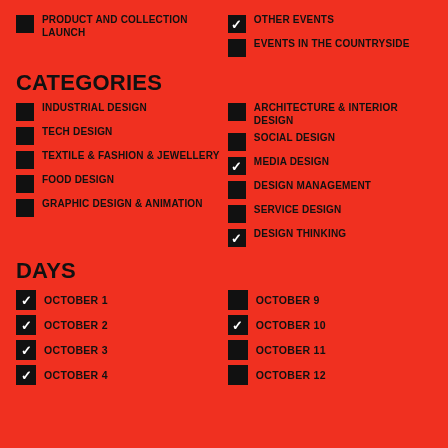PRODUCT AND COLLECTION LAUNCH
OTHER EVENTS
EVENTS IN THE COUNTRYSIDE
CATEGORIES
INDUSTRIAL DESIGN
ARCHITECTURE & INTERIOR DESIGN
TECH DESIGN
SOCIAL DESIGN
TEXTILE & FASHION & JEWELLERY
MEDIA DESIGN
FOOD DESIGN
DESIGN MANAGEMENT
GRAPHIC DESIGN & ANIMATION
SERVICE DESIGN
DESIGN THINKING
DAYS
OCTOBER 1
OCTOBER 9
OCTOBER 2
OCTOBER 10
OCTOBER 3
OCTOBER 11
OCTOBER 4
OCTOBER 12